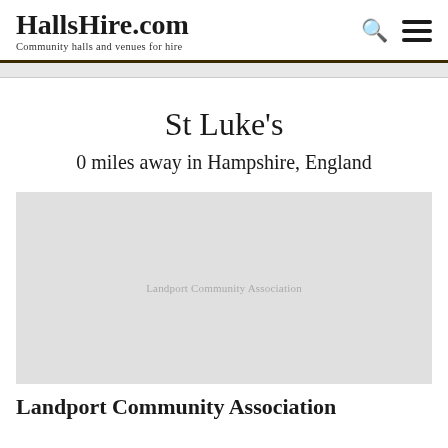HallsHire.com — Community halls and venues for hire
St Luke's
0 miles away in Hampshire, England
[Figure (photo): Light gray placeholder image for a venue photo, with watermark text 'Landport Community Association' in the center]
Landport Community Association